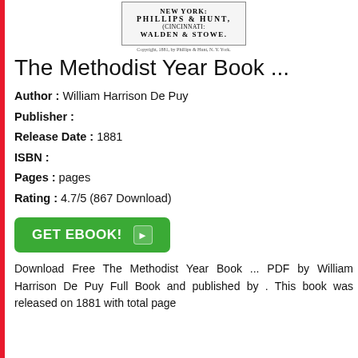[Figure (illustration): Scanned book title page imprint showing publisher details: NEW YORK: PHILLIPS & HUNT. (CINCINNATI: WALDEN & STOWE. with copyright line below.]
The Methodist Year Book ...
Author : William Harrison De Puy
Publisher :
Release Date : 1881
ISBN :
Pages : pages
Rating : 4.7/5 (867 Download)
GET EBOOK!
Download Free The Methodist Year Book ... PDF by William Harrison De Puy Full Book and published by . This book was released on 1881 with total page